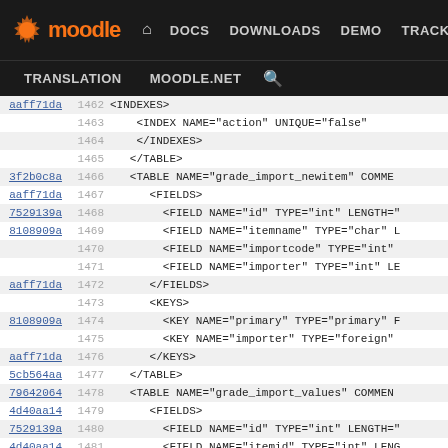[Figure (screenshot): Moodle developer site navigation bar with logo, DOCS, DOWNLOADS, DEMO, TRACKER, DEV links, and TRANSLATION, MOODLE.NET, search links below]
| hash | line | code |
| --- | --- | --- |
| aaff71da | 1462 | <INDEXES> |
|  | 1463 |     <INDEX NAME="action" UNIQUE="false" |
|  | 1464 |     </INDEXES> |
|  | 1465 | </TABLE> |
| 3f2b0c8a | 1466 | <TABLE NAME="grade_import_newitem" COMME |
| aaff71da | 1467 |     <FIELDS> |
| 7529139a | 1468 |         <FIELD NAME="id" TYPE="int" LENGTH=" |
| 8108909a | 1469 |         <FIELD NAME="itemname" TYPE="char" L |
|  | 1470 |         <FIELD NAME="importcode" TYPE="int" |
|  | 1471 |         <FIELD NAME="importer" TYPE="int" LE |
| aaff71da | 1472 |     </FIELDS> |
|  | 1473 |     <KEYS> |
| 8108909a | 1474 |         <KEY NAME="primary" TYPE="primary" F |
|  | 1475 |         <KEY NAME="importer" TYPE="foreign" |
| aaff71da | 1476 |     </KEYS> |
| 5cb564aa | 1477 | </TABLE> |
| 79642064 | 1478 | <TABLE NAME="grade_import_values" COMMEN |
| 4d40aa14 | 1479 |     <FIELDS> |
| 7529139a | 1480 |         <FIELD NAME="id" TYPE="int" LENGTH=" |
| 4d40aa14 | 1481 |         <FIELD NAME="itemid" TYPE="int" LENG |
|  | 1482 |         <FIELD NAME="newgradeitem" TYPE="int |
| 85c7bd5b | 1483 |         <FIELD NAME="userid" TYPE="int" LENG |
| 8108909a | 1484 |         <FIELD NAME="finalgrade" TYPE="numbe |
|  | 1485 |         <FIELD NAME="feedback" TYPE="text" L |
|  | 1486 |         <FIELD NAME="importcode" TYPE="int" |
|  | 1487 |         <FIELD NAME="importer" TYPE="int" LE |
| 4d40aa14 | 1488 | </FIELDS> |